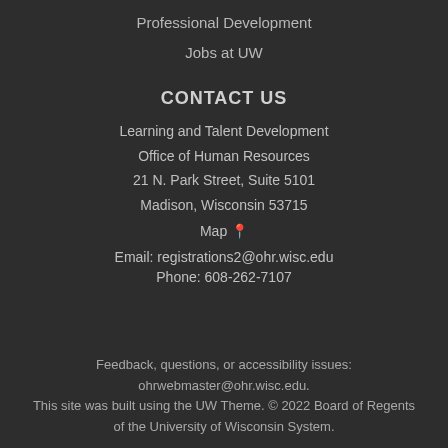Professional Development
Jobs at UW
CONTACT US
Learning and Talent Development
Office of Human Resources
21 N. Park Street, Suite 5101
Madison, Wisconsin 53715
Map 📍
Email: registrations2@ohr.wisc.edu
Phone: 608-262-7107
Feedback, questions, or accessibility issues:
ohrwebmaster@ohr.wisc.edu.
This site was built using the UW Theme. © 2022 Board of Regents of the University of Wisconsin System.